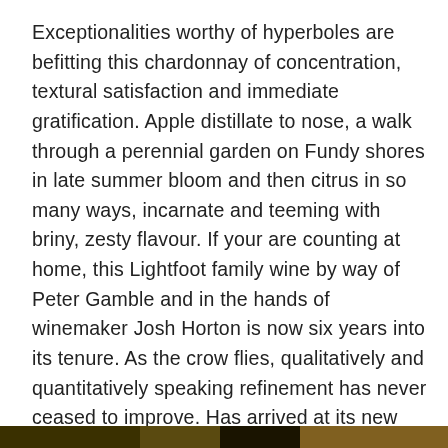Exceptionalities worthy of hyperboles are befitting this chardonnay of concentration, textural satisfaction and immediate gratification. Apple distillate to nose, a walk through a perennial garden on Fundy shores in late summer bloom and then citrus in so many ways, incarnate and teeming with briny, zesty flavour. If your are counting at home, this Lightfoot family wine by way of Peter Gamble and in the hands of winemaker Josh Horton is now six years into its tenure. As the crow flies, qualitatively and quantitatively speaking refinement has never ceased to improve. Has arrived at its new Minas Basin tidal heights, crisp and salivating, finishing on the highest of notes. Chardonnay god of ocean tides, “all night long, writing poems to” Nova Scotia. Drink 2020-2024.  Tasted October 2020
[Figure (photo): A partial dark image visible at the bottom of the page]